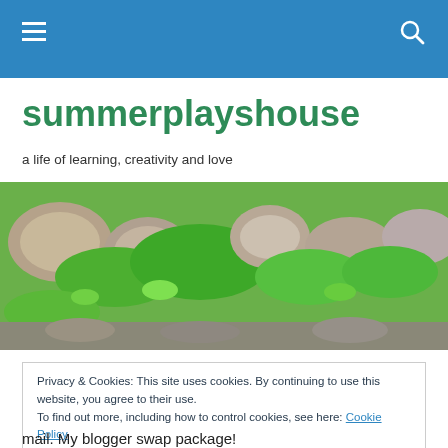Navigation bar with menu and search icons
summerplayshouse
a life of learning, creativity and love
[Figure (photo): A close-up photograph of a stone wall covered in bright green moss]
Privacy & Cookies: This site uses cookies. By continuing to use this website, you agree to their use.
To find out more, including how to control cookies, see here: Cookie Policy
Close and accept
mail. My blogger swap package!